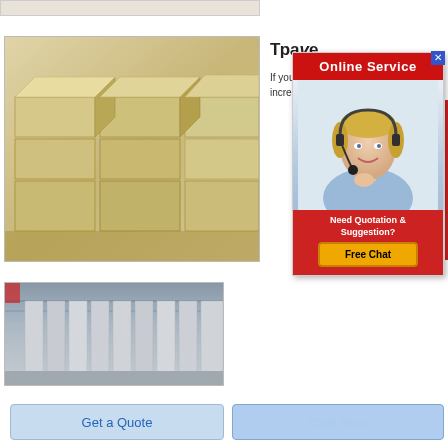[Figure (photo): Partial top image strip showing building materials]
Траve
If you incre...
[Figure (photo): Stack of light-colored firebricks or refractory bricks arranged geometrically]
[Figure (infographic): Online Service popup with red header, female customer service agent wearing headset, and Free Chat button]
[Figure (photo): Warehouse interior showing tall white panels or boards stacked vertically]
Get a Quote
Chat Now